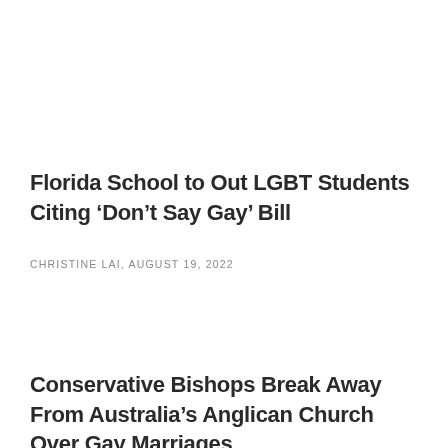Florida School to Out LGBT Students Citing ‘Don’t Say Gay’ Bill
CHRISTINE LAI, AUGUST 19, 2022
Conservative Bishops Break Away From Australia’s Anglican Church Over Gay Marriages